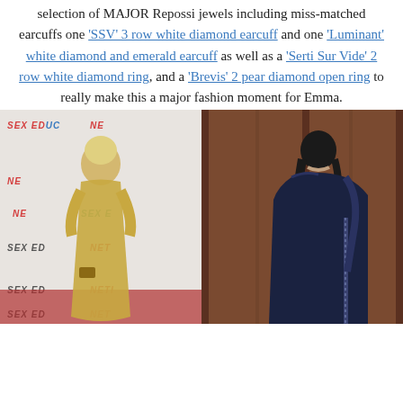selection of MAJOR Repossi jewels including miss-matched earcuffs one 'SSV' 3 row white diamond earcuff and one 'Luminant' white diamond and emerald earcuff as well as a 'Serti Sur Vide' 2 row white diamond ring, and a 'Brevis' 2 pear diamond open ring to really make this a major fashion moment for Emma.
[Figure (photo): Two photos side by side: left shows a blonde woman in a gold sequined gown at a Sex Education Netflix event on a red carpet; right shows a woman with dark hair in a navy off-shoulder gown seen from behind.]